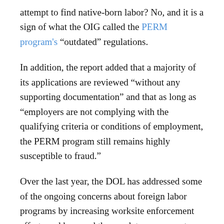attempt to find native-born labor? No, and it is a sign of what the OIG called the PERM program's “outdated” regulations.
In addition, the report added that a majority of its applications are reviewed “without any supporting documentation” and that as long as “employers are not complying with the qualifying criteria or conditions of employment, the PERM program still remains highly susceptible to fraud.”
Over the last year, the DOL has addressed some of the ongoing concerns about foreign labor programs by increasing worksite enforcement efforts and has used the regulatory process to strengthen worker protections.